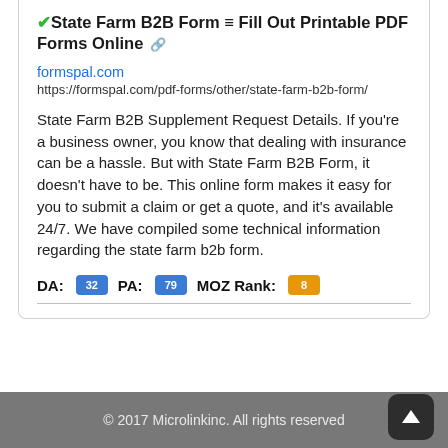✔State Farm B2B Form ≡ Fill Out Printable PDF Forms Online 🔗
formspal.com
https://formspal.com/pdf-forms/other/state-farm-b2b-form/
State Farm B2B Supplement Request Details. If you're a business owner, you know that dealing with insurance can be a hassle. But with State Farm B2B Form, it doesn't have to be. This online form makes it easy for you to submit a claim or get a quote, and it's available 24/7. We have compiled some technical information regarding the state farm b2b form.
DA: 32 PA: 79 MOZ Rank: 8
© 2017 Microlinkinc. All rights reserved